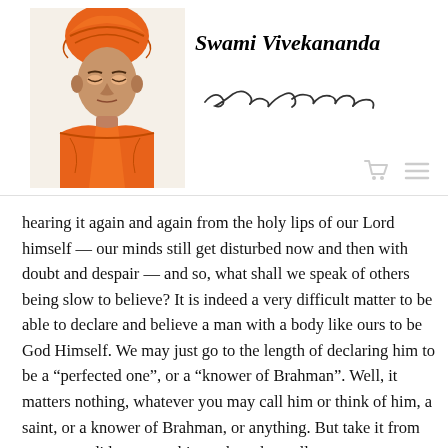[Figure (photo): Portrait of Swami Vivekananda wearing saffron/orange robes and turban]
Swami Vivekananda
[Figure (illustration): Cursive handwritten signature reading 'Swami Vivekananda']
hearing it again and again from the holy lips of our Lord himself — our minds still get disturbed now and then with doubt and despair — and so, what shall we speak of others being slow to believe? It is indeed a very difficult matter to be able to declare and believe a man with a body like ours to be God Himself. We may just go to the length of declaring him to be a “perfected one”, or a “knower of Brahman”. Well, it matters nothing, whatever you may call him or think of him, a saint, or a knower of Brahman, or anything. But take it from me, never did come to this earth such an all